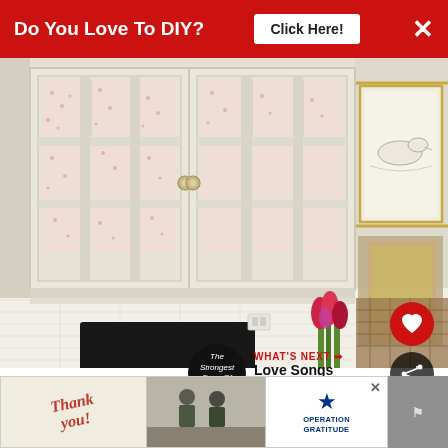[Figure (screenshot): Website screenshot showing a red banner ad at top reading 'Do You Love To DIY? Click Here!' with an X close button, overlaid on a photo of cream/white kitchen cabinets with glass doors lined with floral fabric, a framed duck artwork on the wall, and red tulips in foreground. A 'WHAT'S NEXT' overlay shows 'Love Songs And Lyrics'. A bottom banner ad shows 'Thank you' with Operation Gratitude branding.]
Do You Love To DIY?
Click Here!
WHAT'S NEXT → Love Songs And Lyrics
The Strongest Form Of Magic
Thank you! OPERATION GRATITUDE